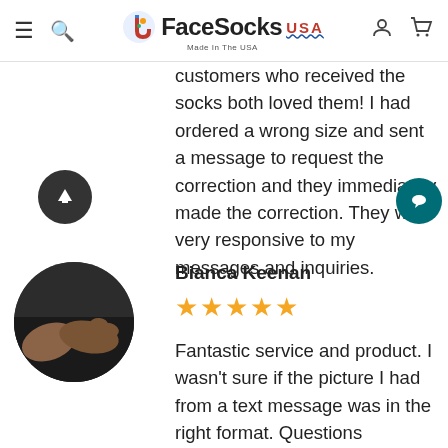FaceSocks USA — Made in The USA
customers who received the socks both loved them! I had ordered a wrong size and sent a message to request the correction and they immediately made the correction. They were very responsive to my messages and inquiries.
Bianca Keenan
★★★★★
Fantastic service and product. I wasn't sure if the picture I had from a text message was in the right format. Questions answered... the Pictures on the...